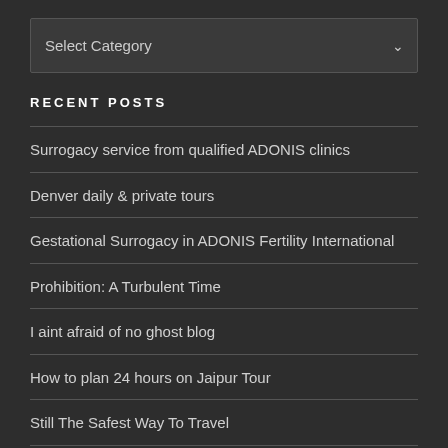[Figure (other): Dropdown select box with 'Select Category' placeholder and chevron arrow]
RECENT POSTS
Surrogacy service from qualified ADONIS clinics
Denver daily & private tours
Gestational Surrogacy in ADONIS Fertility International
Prohibition: A Turbulent Time
I aint afraid of no ghost blog
How to plan 24 hours on Jaipur Tour
Still The Safest Way To Travel
Getting the Most Out of Your Weekend Road Trip